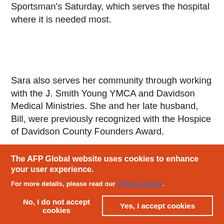Sportsman's Saturday, which serves the hospital where it is needed most.
Sara also serves her community through working with the J. Smith Young YMCA and Davidson Medical Ministries. She and her late husband, Bill, were previously recognized with the Hospice of Davidson County Founders Award.
From 1994 to 1996, Sara served as president of the Davidson County Community College Foundation
The AFP Global website uses cookies to enhance your user experience.

For more details, please read our Privacy Policy.

No, I do not accept cookies    Yes, I accept cookies